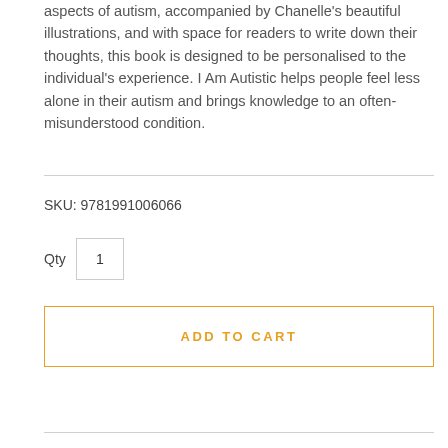aspects of autism, accompanied by Chanelle's beautiful illustrations, and with space for readers to write down their thoughts, this book is designed to be personalised to the individual's experience. I Am Autistic helps people feel less alone in their autism and brings knowledge to an often-misunderstood condition.
SKU: 9781991006066
Qty 1
ADD TO CART